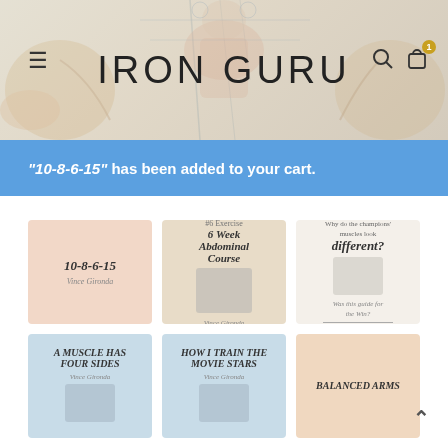IRON GURU
"10-8-6-15" has been added to your cart.
[Figure (illustration): Product card: 10-8-6-15 book cover on salmon background]
[Figure (illustration): Product card: 6 Week Abdominal Course book cover on beige/white background]
[Figure (illustration): Product card: Why do the champions' muscles look different? booklet cover on white background]
[Figure (illustration): Product card: A muscle has FOUR SIDES book cover on light blue background]
[Figure (illustration): Product card: How I Train the Movie Stars book cover on light blue background]
[Figure (illustration): Product card: Balanced Arms book cover on peach/salmon background]